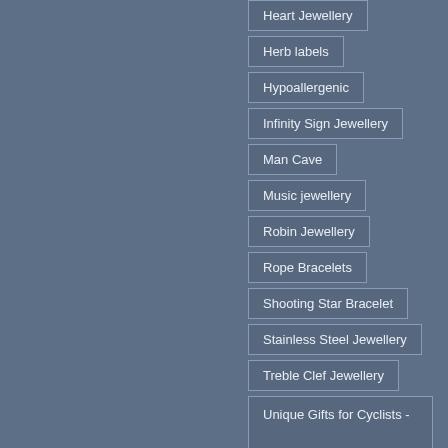Heart Jewellery
Herb labels
Hypoallergenic
Infinity Sign Jewellery
Man Cave
Music jewellery
Robin Jewellery
Rope Bracelets
Shooting Star Bracelet
Stainless Steel Jewellery
Treble Clef Jewellery
Unique Gifts for Cyclists - gifts for the cyclist in your life